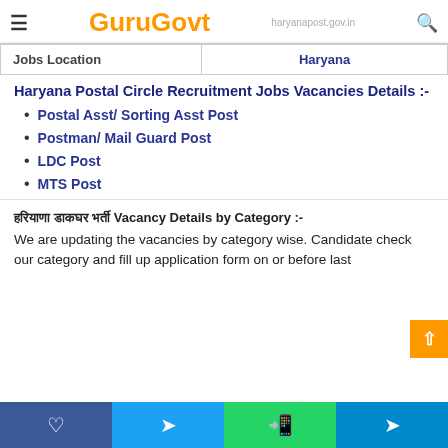≡ GuruGovt | haryanapost.gov.in | 🔍
| Jobs Location | Haryana |
| --- | --- |
| Jobs Location | Haryana |
Haryana Postal Circle Recruitment Jobs Vacancies Details :-
Postal Asst/ Sorting Asst Post
Postman/ Mail Guard Post
LDC Post
MTS Post
हरियाणा डाकघर भर्ती Vacancy Details by Category :-
We are updating the vacancies by category wise. Candidate check our category and fill up application form on or before last